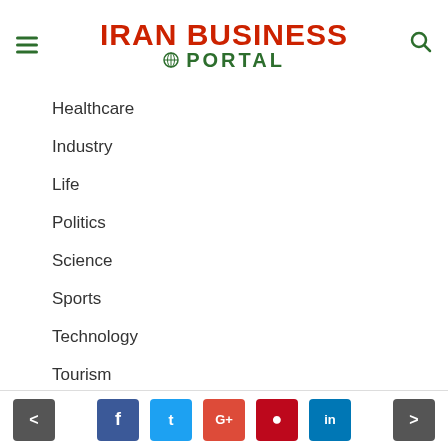Iran Business Portal
Healthcare
Industry
Life
Politics
Science
Sports
Technology
Tourism
Transportation
Travel
Women
< f t G+ p in >